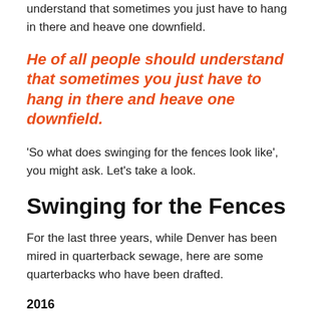understand that sometimes you just have to hang in there and heave one downfield.
He of all people should understand that sometimes you just have to hang in there and heave one downfield.
'So what does swinging for the fences look like', you might ask. Let's take a look.
Swinging for the Fences
For the last three years, while Denver has been mired in quarterback sewage, here are some quarterbacks who have been drafted.
2016
Jared Goff